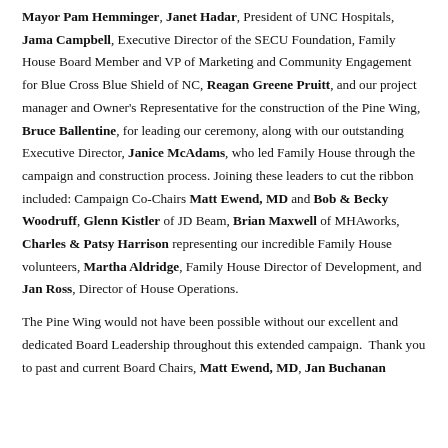Mayor Pam Hemminger, Janet Hadar, President of UNC Hospitals, Jama Campbell, Executive Director of the SECU Foundation, Family House Board Member and VP of Marketing and Community Engagement for Blue Cross Blue Shield of NC, Reagan Greene Pruitt, and our project manager and Owner's Representative for the construction of the Pine Wing, Bruce Ballentine, for leading our ceremony, along with our outstanding Executive Director, Janice McAdams, who led Family House through the campaign and construction process. Joining these leaders to cut the ribbon included: Campaign Co-Chairs Matt Ewend, MD and Bob & Becky Woodruff, Glenn Kistler of JD Beam, Brian Maxwell of MHAworks, Charles & Patsy Harrison representing our incredible Family House volunteers, Martha Aldridge, Family House Director of Development, and Jan Ross, Director of House Operations.
The Pine Wing would not have been possible without our excellent and dedicated Board Leadership throughout this extended campaign. Thank you to past and current Board Chairs, Matt Ewend, MD, Jan Buchanan